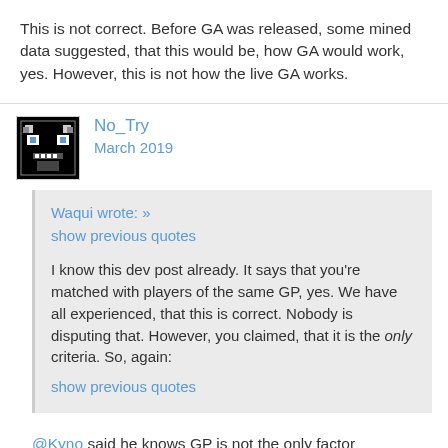This is not correct. Before GA was released, some mined data suggested, that this would be, how GA would work, yes. However, this is not how the live GA works.
No_Try
March 2019
Waqui wrote: »
show previous quotes

I know this dev post already. It says that you're matched with players of the same GP, yes. We have all experienced, that this is correct. Nobody is disputing that. However, you claimed, that it is the only criteria. So, again:
show previous quotes
@Kyno said he knows GP is not the only factor numerous